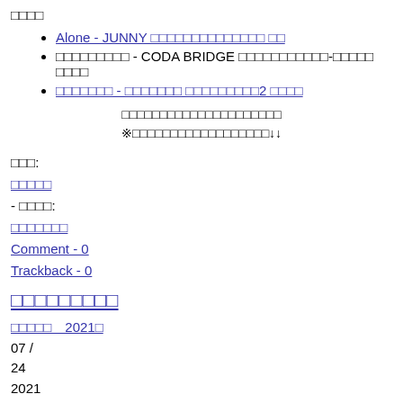□□□□
Alone - JUNNY □□□□□□□□□□□□□□ □□
□□□□□□□□□ - CODA BRIDGE □□□□□□□□□□□-□□□□□ □□□□
□□□□□□□ - □□□□□□□ □□□□□□□□□2 □□□□
□□□□□□□□□□□□□□□□□□□□□
※□□□□□□□□□□□□□□□□□□↓↓
□□□:
□□□□□
- □□□□:
□□□□□□□
Comment - 0
Trackback - 0
□□□□□□□□□
□□□□□　2021□
07 /
24
2021
■□□□
□□□□□□□ □□